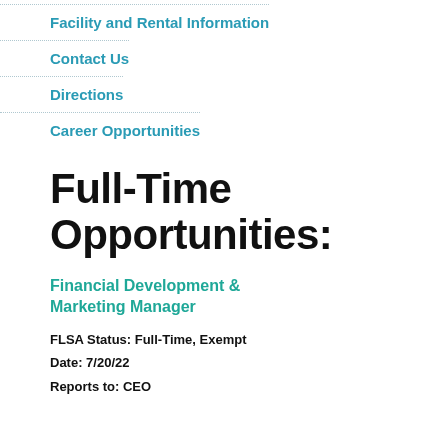Facility and Rental Information
Contact Us
Directions
Career Opportunities
Full-Time Opportunities:
Financial Development & Marketing Manager
FLSA Status: Full-Time, Exempt
Date: 7/20/22
Reports to: CEO